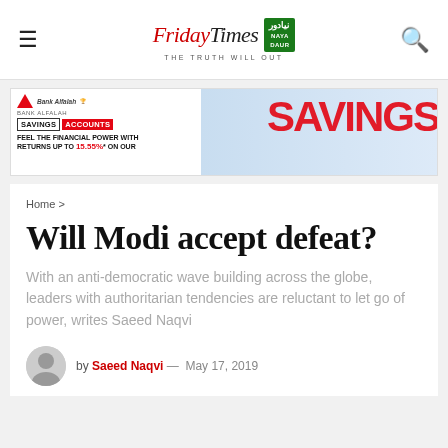The Friday Times | Naya Daur — THE TRUTH WILL OUT
[Figure (photo): Bank Alfalah savings accounts advertisement banner showing 'SAVINGS ACCOUNTS' text with large red SAVINGS text and multiple people, promoting returns up to 15.55%]
Home >
Will Modi accept defeat?
With an anti-democratic wave building across the globe, leaders with authoritarian tendencies are reluctant to let go of power, writes Saeed Naqvi
by Saeed Naqvi — May 17, 2019